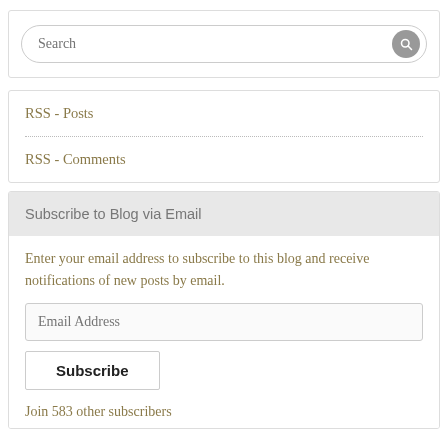[Figure (screenshot): Search bar with rounded border and grey search icon button on the right]
RSS - Posts
RSS - Comments
Subscribe to Blog via Email
Enter your email address to subscribe to this blog and receive notifications of new posts by email.
[Figure (screenshot): Email Address input field]
[Figure (screenshot): Subscribe button]
Join 583 other subscribers